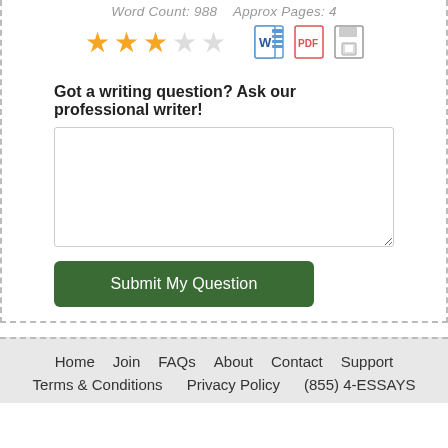Word Count: 988    Approx Pages: 4
[Figure (other): 3 filled gold stars, 2 empty stars rating widget, plus Word doc icon, PDF icon, and floppy disk/save icon]
Got a writing question? Ask our professional writer!
[text input area]
Submit My Question
Home  Join  FAQs  About  Contact  Support  Terms & Conditions  Privacy Policy  (855) 4-ESSAYS